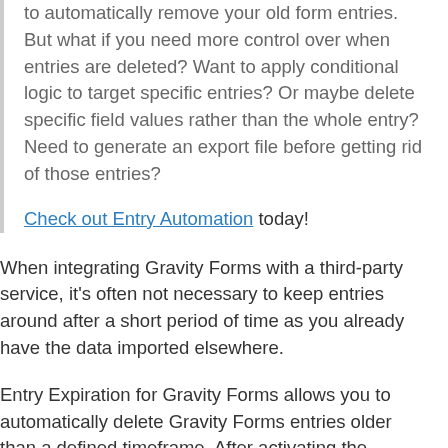to automatically remove your old form entries. But what if you need more control over when entries are deleted? Want to apply conditional logic to target specific entries? Or maybe delete specific field values rather than the whole entry? Need to generate an export file before getting rid of those entries?
Check out Entry Automation today!
When integrating Gravity Forms with a third-party service, it's often not necessary to keep entries around after a short period of time as you already have the data imported elsewhere.
Entry Expiration for Gravity Forms allows you to automatically delete Gravity Forms entries older than a defined timeframe. After activating the plugin, set the oldest age for an entry on the Entry Expiration